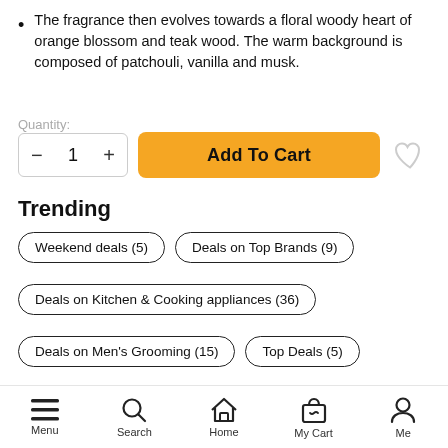The fragrance then evolves towards a floral woody heart of orange blossom and teak wood. The warm background is composed of patchouli, vanilla and musk.
Quantity:
Trending
Weekend deals (5)
Deals on Top Brands (9)
Deals on Kitchen & Cooking appliances (36)
Deals on Men's Grooming (15)
Top Deals (5)
Express Delivery
Menu  Search  Home  My Cart  Me